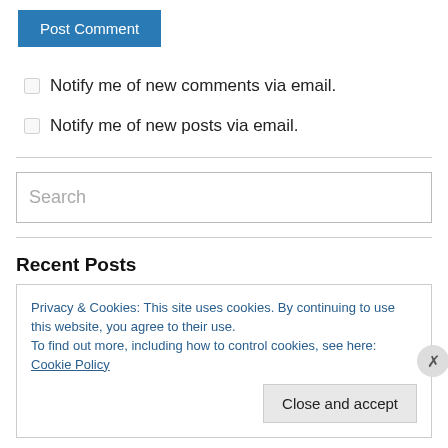Post Comment
Notify me of new comments via email.
Notify me of new posts via email.
Search
Recent Posts
Privacy & Cookies: This site uses cookies. By continuing to use this website, you agree to their use. To find out more, including how to control cookies, see here: Cookie Policy
Close and accept